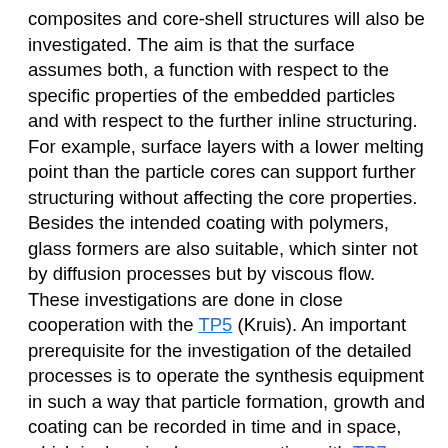composites and core-shell structures will also be investigated. The aim is that the surface assumes both, a function with respect to the specific properties of the embedded particles and with respect to the further inline structuring. For example, surface layers with a lower melting point than the particle cores can support further structuring without affecting the core properties. Besides the intended coating with polymers, glass formers are also suitable, which sinter not by diffusion processes but by viscous flow. These investigations are done in close cooperation with the TP5 (Kruis). An important prerequisite for the investigation of the detailed processes is to operate the synthesis equipment in such a way that particle formation, growth and coating can be recorded in time and in space, which is done in close cooperation with TP7 (Dreier | Schulz).